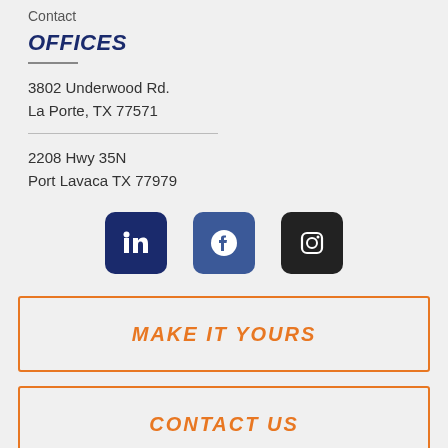Contact
OFFICES
3802 Underwood Rd.
La Porte, TX 77571
2208 Hwy 35N
Port Lavaca TX 77979
[Figure (infographic): Three social media icon buttons: LinkedIn (dark navy), Facebook (medium blue), Instagram (black)]
MAKE IT YOURS
CONTACT US